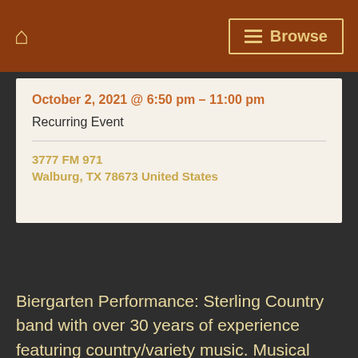Browse
October 2, 2021 @ 6:50 pm – 11:00 pm
Recurring Event
3777 FM 971
Walburg, TX 78673 United States
Biergarten Performance: Sterling Country band with over 30 years of experience featuring country/variety music. Musical influences include Jodie Jay, Doug Moehnke, Hubert & Albin Dubec, Joe Downs. Band members are: Scooter Dubec, Ronnie Heselmeyer, Gaylon